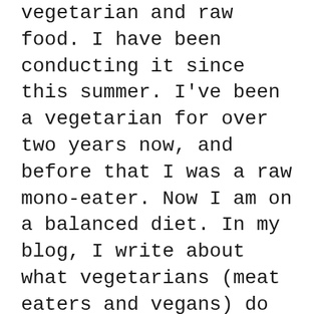vegetarian and raw food. I have been conducting it since this summer. I've been a vegetarian for over two years now, and before that I was a raw mono-eater. Now I am on a balanced diet. In my blog, I write about what vegetarians (meat eaters and vegans) do not eat – how I eat and what mistakes I avoid.
About us
Contact
Privacy Policy & Cookies
ATTENTION TO RIGHT HOLDERS! All materials are posted on the site strictly for